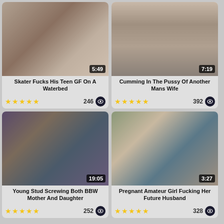[Figure (screenshot): Video thumbnail for card 1 with duration 5:49]
Skater Fucks His Teen GF On A Waterbed
246
[Figure (screenshot): Video thumbnail for card 2 with duration 7:19]
Cumming In The Pussy Of Another Mans Wife
392
[Figure (screenshot): Video thumbnail for card 3 with duration 19:05]
Young Stud Screwing Both BBW Mother And Daughter
252
[Figure (screenshot): Video thumbnail for card 4 with duration 3:27]
Pregnant Amateur Girl Fucking Her Future Husband
328